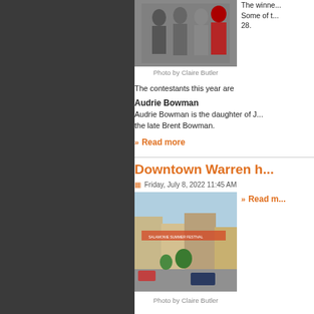[Figure (photo): Group of women contestants standing together outdoors]
Photo by Claire Butler
The winners this year are  Some of t... 28.
The contestants this year are
Audrie Bowman
Audrie Bowman is the daughter of J... the late Brent Bowman.
Read more
Downtown Warren h...
Friday, July 8, 2022 11:45 AM
Read m...
[Figure (photo): Downtown Warren street scene with Salamonie Summer Festival banner]
Photo by Claire Butler